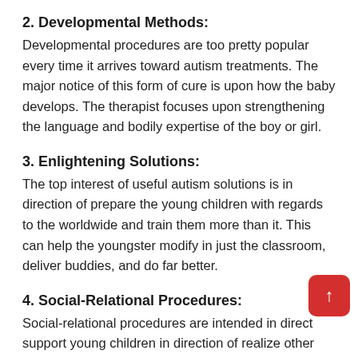2. Developmental Methods:
Developmental procedures are too pretty popular every time it arrives toward autism treatments. The major notice of this form of cure is upon how the baby develops. The therapist focuses upon strengthening the language and bodily expertise of the boy or girl.
3. Enlightening Solutions:
The top interest of useful autism solutions is in direction of prepare the young children with regards to the worldwide and train them more than it. This can help the youngster modify in just the classroom, deliver buddies, and do far better.
4. Social-Relational Procedures:
Social-relational procedures are intended in direction of support young children in direction of realize other